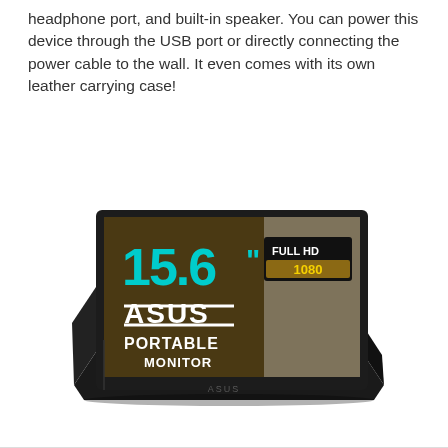headphone port, and built-in speaker. You can power this device through the USB port or directly connecting the power cable to the wall. It even comes with its own leather carrying case!
[Figure (photo): ASUS Portable Monitor 15.6 inch Full HD 1080 displayed on its leather carrying case/stand, shown at an angle. The monitor screen shows the ASUS logo, text '15.6"', 'FULL HD 1080', 'ASUS PORTABLE MONITOR', and a background photo of a person with luggage.]